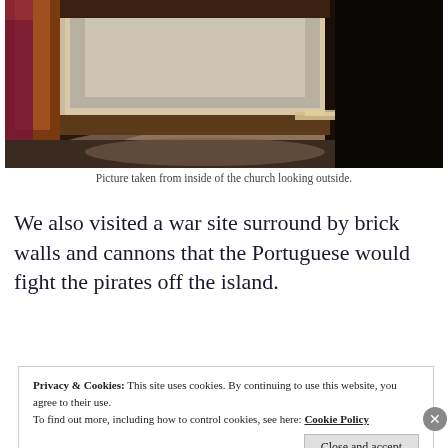[Figure (photo): Photograph taken from inside a church looking outside through a doorway. Warm wooden door frame visible on the left, bright light coming through the opening, dark interior floor in the foreground.]
Picture taken from inside of the church looking outside.
We also visited a war site surround by brick walls and cannons that the Portuguese would fight the pirates off the island.
Privacy & Cookies: This site uses cookies. By continuing to use this website, you agree to their use. To find out more, including how to control cookies, see here: Cookie Policy